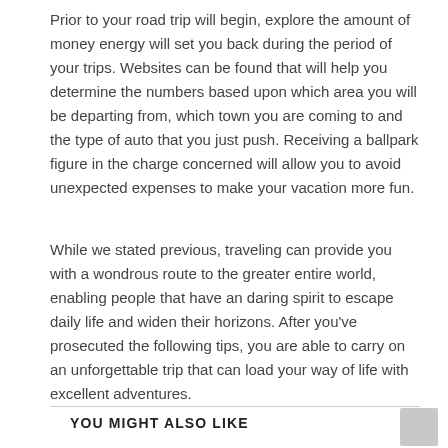Prior to your road trip will begin, explore the amount of money energy will set you back during the period of your trips. Websites can be found that will help you determine the numbers based upon which area you will be departing from, which town you are coming to and the type of auto that you just push. Receiving a ballpark figure in the charge concerned will allow you to avoid unexpected expenses to make your vacation more fun.
While we stated previous, traveling can provide you with a wondrous route to the greater entire world, enabling people that have an daring spirit to escape daily life and widen their horizons. After you've prosecuted the following tips, you are able to carry on an unforgettable trip that can load your way of life with excellent adventures.
YOU MIGHT ALSO LIKE